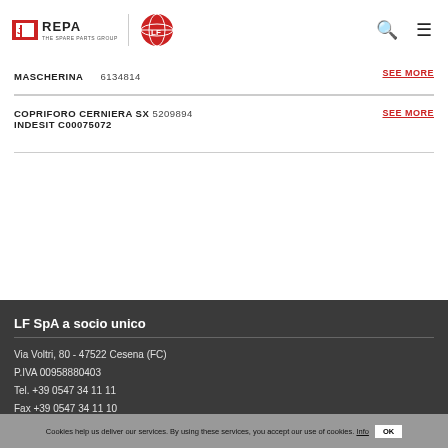REPA THE SPARE PARTS GROUP | LF Logo | Search | Menu
MASCHERINA  6134814  SEE MORE
COPRIFORO CERNIERA SX 5209894 INDESIT C00075072  SEE MORE
LF SpA a socio unico
Via Voltri, 80 - 47522 Cesena (FC)
P.IVA 00958880403
Tel. +39 0547 34 11 11
Fax +39 0547 34 11 10
export@repagroup.com
Cookies help us deliver our services. By using these services, you accept our use of cookies. Info  OK